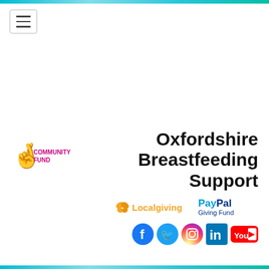[Figure (logo): National Lottery Community Fund logo - crossed fingers hand icon with 'COMMUNITY FUND' text in magenta/pink]
Oxfordshire Breastfeeding Support
[Figure (logo): Localgiving logo with orange/gold butterfly icon and 'Localgiving' text in orange]
[Figure (logo): PayPal Giving Fund logo with blue/dark blue 'PayPal' text and 'Giving Fund' below]
[Figure (logo): Social media icons row: Facebook (blue circle), Twitter (blue circle), Instagram (gradient circle), LinkedIn (blue square), YouTube (red rectangle)]